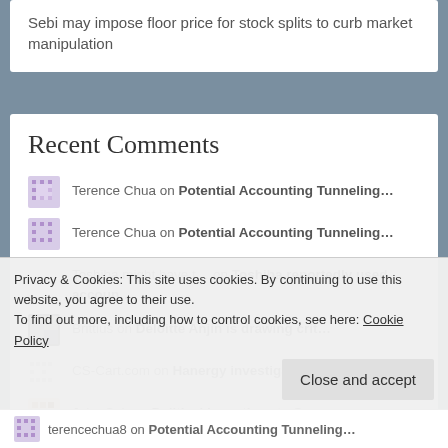Sebi may impose floor price for stock splits to curb market manipulation
Recent Comments
Terence Chua on Potential Accounting Tunneling…
Terence Chua on Potential Accounting Tunneling…
Toshiba might have t… on Toshiba reportedly used accoun…
Brittius on Deloitte Anjin is drawing crit…
CS-Cart.com on Hanergy investigation could la…
John Soh on Political Incentives to Suppre…
Privacy & Cookies: This site uses cookies. By continuing to use this website, you agree to their use.
To find out more, including how to control cookies, see here: Cookie Policy
Close and accept
terencechua8 on Potential Accounting Tunneling…